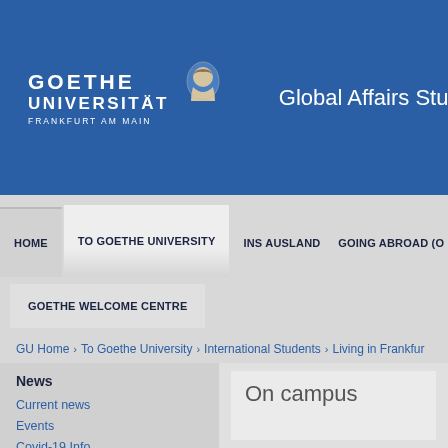[Figure (logo): Goethe Universität Frankfurt am Main logo with portrait silhouette and text]
Global Affairs Stu
HOME
TO GOETHE UNIVERSITY
INS AUSLAND
GOING ABROAD (O
GOETHE WELCOME CENTRE
GU Home › To Goethe University › International Students › Living in Frankfur
News
Current news
Events
Covid-19 Info
Covid-19 Support
Covid-19 Counselling
On campus